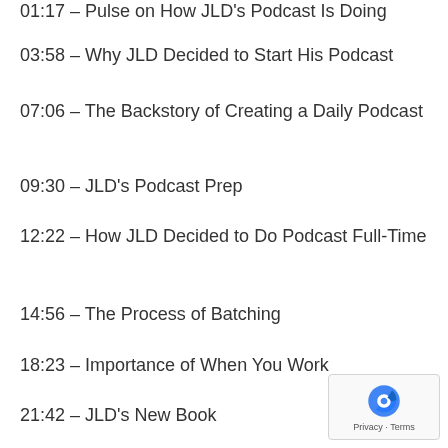01:17 – Pulse on How JLD's Podcast Is Doing
03:58 – Why JLD Decided to Start His Podcast
07:06 – The Backstory of Creating a Daily Podcast
09:30 – JLD's Podcast Prep
12:22 – How JLD Decided to Do Podcast Full-Time
14:56 – The Process of Batching
18:23 – Importance of When You Work
21:42 – JLD's New Book